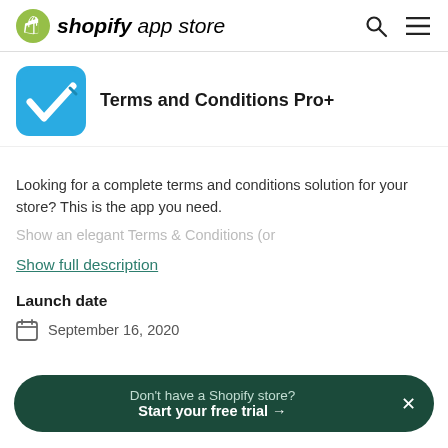shopify app store
Terms and Conditions Pro+
Looking for a complete terms and conditions solution for your store? This is the app you need.
Show an elegant Terms & Conditions (or
Show full description
Launch date
September 16, 2020
Don't have a Shopify store? Start your free trial →